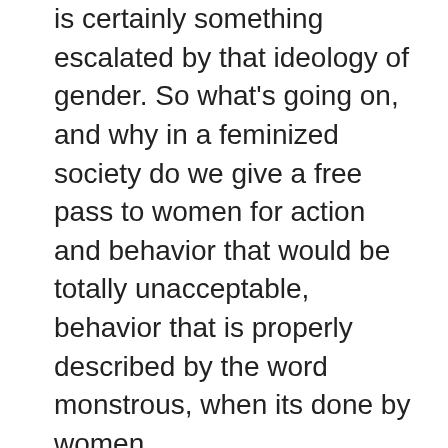is certainly something escalated by that ideology of gender. So what's going on, and why in a feminized society do we give a free pass to women for action and behavior that would be totally unacceptable, behavior that is properly described by the word monstrous, when its done by women. As rational adults, we excuse outrageous behavior for other people too. Toddlers, and the mentally defective. Isn't the free pass we give women an implicit claim that they're either toddlers – or mentally defective? Thursday night on a voice for men – Girl Writes What, the Wooly BumbleBee and John